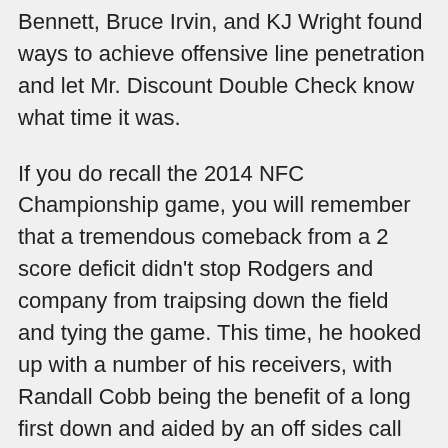Bennett, Bruce Irvin, and KJ Wright found ways to achieve offensive line penetration and let Mr. Discount Double Check know what time it was.
If you do recall the 2014 NFC Championship game, you will remember that a tremendous comeback from a 2 score deficit didn't stop Rodgers and company from traipsing down the field and tying the game. This time, he hooked up with a number of his receivers, with Randall Cobb being the benefit of a long first down and aided by an off sides call on Seattle. Even rookie receiver Davante Adams, who would exit the game with an ankle injury (but return), made a few clutch 1st down catches. The key player for Green Bay was Tight End Richard Rodgers, who would connect with his QB for both a touchdown and two point conversion in the 4th quarter. Kicker Mason Crosby was proficient...